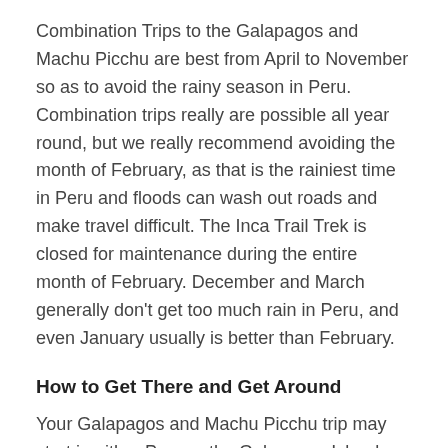Combination Trips to the Galapagos and Machu Picchu are best from April to November so as to avoid the rainy season in Peru. Combination trips really are possible all year round, but we really recommend avoiding the month of February, as that is the rainiest time in Peru and floods can wash out roads and make travel difficult. The Inca Trail Trek is closed for maintenance during the entire month of February. December and March generally don't get too much rain in Peru, and even January usually is better than February.
How to Get There and Get Around
Your Galapagos and Machu Picchu trip may start in either Peru or the Galapagos Islands, and then it would end in the other destination. Your international flights would need to be like this: